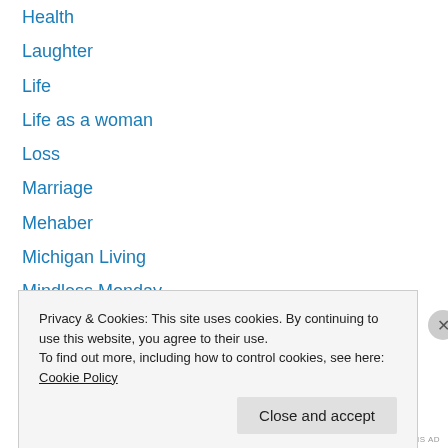Health
Laughter
Life
Life as a woman
Loss
Marriage
Mehaber
Michigan Living
Mindless Monday
Mitigu
Motherhood
Mothering
Moving
Privacy & Cookies: This site uses cookies. By continuing to use this website, you agree to their use. To find out more, including how to control cookies, see here: Cookie Policy
Close and accept